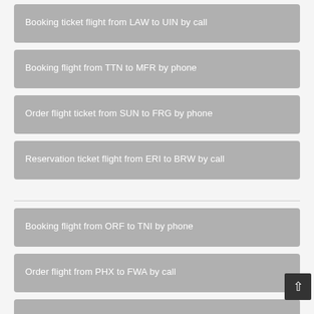Booking ticket flight from LAW to UIN by call
Booking flight from TTN to MFR by phone
Order flight ticket from SUN to FRG by phone
Reservation ticket flight from ERI to BRW by call
Booking flight from ORF to TNI by phone
Order flight from PHX to FWA by call
Booking ticket flight from …